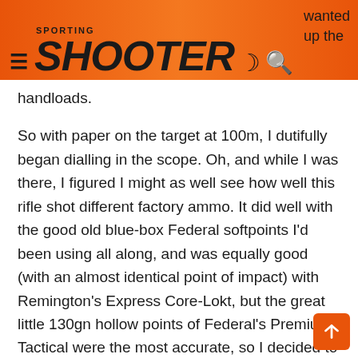SPORTING SHOOTER
up the handloads.
So with paper on the target at 100m, I dutifully began dialling in the scope. Oh, and while I was there, I figured I might as well see how well this rifle shot different factory ammo. It did well with the good old blue-box Federal softpoints I'd been using all along, and was equally good (with an almost identical point of impact) with Remington's Express Core-Lokt, but the great little 130gn hollow points of Federal's Premium Tactical were the most accurate, so I decided to switch to them.